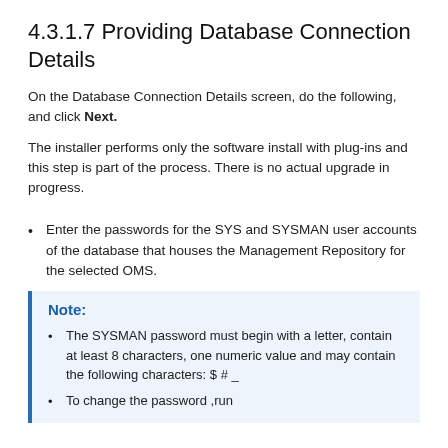4.3.1.7 Providing Database Connection Details
On the Database Connection Details screen, do the following, and click Next.
The installer performs only the software install with plug-ins and this step is part of the process. There is no actual upgrade in progress.
Enter the passwords for the SYS and SYSMAN user accounts of the database that houses the Management Repository for the selected OMS.
Note:
The SYSMAN password must begin with a letter, contain at least 8 characters, one numeric value and may contain the following characters: $ # _
To change the password ,run